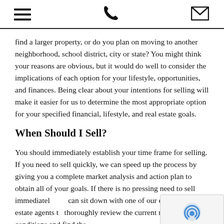[hamburger menu icon] [phone icon] [envelope icon]
find a larger property, or do you plan on moving to another neighborhood, school district, city or state? You might think your reasons are obvious, but it would do well to consider the implications of each option for your lifestyle, opportunities, and finances. Being clear about your intentions for selling will make it easier for us to determine the most appropriate option for your specified financial, lifestyle, and real estate goals.
When Should I Sell?
You should immediately establish your time frame for selling. If you need to sell quickly, we can speed up the process by giving you a complete market analysis and action plan to obtain all of your goals. If there is no pressing need to sell immediately, we can sit down with one of our expert real estate agents to thoroughly review the current market conditions and find the